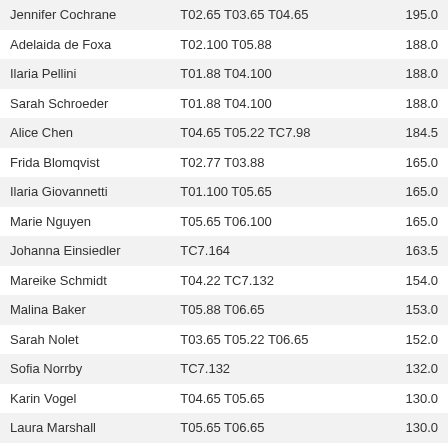| Jennifer Cochrane | T02.65 T03.65 T04.65 | 195.0 |
| Adelaida de Foxa | T02.100 T05.88 | 188.0 |
| Ilaria Pellini | T01.88 T04.100 | 188.0 |
| Sarah Schroeder | T01.88 T04.100 | 188.0 |
| Alice Chen | T04.65 T05.22 TC7.98 | 184.5 |
| Frida Blomqvist | T02.77 T03.88 | 165.0 |
| Ilaria Giovannetti | T01.100 T05.65 | 165.0 |
| Marie Nguyen | T05.65 T06.100 | 165.0 |
| Johanna Einsiedler | TC7.164 | 163.5 |
| Mareike Schmidt | T04.22 TC7.132 | 154.0 |
| Malina Baker | T05.88 T06.65 | 153.0 |
| Sarah Nolet | T03.65 T05.22 T06.65 | 152.0 |
| Sofia Norrby | TC7.132 | 132.0 |
| Karin Vogel | T04.65 T05.65 | 130.0 |
| Laura Marshall | T05.65 T06.65 | 130.0 |
| Petra Mokoska | T03.65 T06.65 | 130.0 |
| Alison Batt | T03.65 T04.22 T05.22 T06.19 | 128.0 |
| Kristin de la Fuente | T03.65 T04.22 T05.22 T06.19 | 128.0 |
| Agnieszka Kudziela | T04.109 | 109.0 |
| Kristina Knezovic | T04.109 | 109.0 |